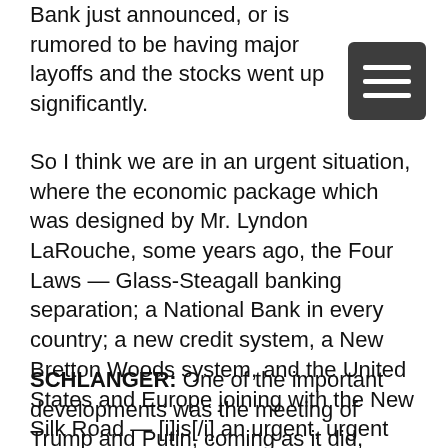Bank just announced, or is rumored to be having major layoffs and the stocks went up significantly.
[Figure (other): Menu icon — dark rounded square with three horizontal white lines (hamburger menu button)]
So I think we are in an urgent situation, where the economic package which was designed by Mr. Lyndon LaRouche, some years ago, the Four Laws — Glass-Steagall banking separation; a National Bank in every country; a new credit system, a New Bretton Woods system, and the United States and Europe joining with the New Silk Road — [i]is[/i] an urgent, urgent question. We need to have a mobilization: So, I'm asking you our viewers and listeners to help us. Contact us, because this crisis is coming on fast, and it would be almost a miracle if it wouldn't take place very soon this year.
SCHLANGER: One of the important developments was the meeting of Trump and Putin, coming as it did, especially after the danger that we saw over the weekend before last, and the...